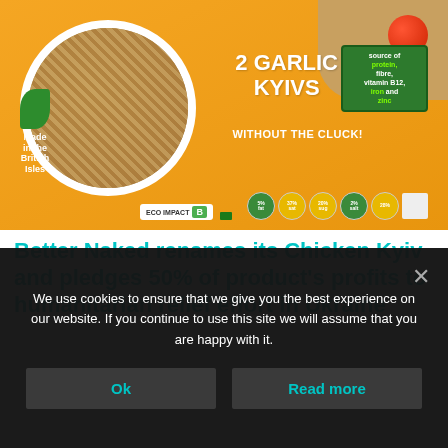[Figure (photo): Product packaging photo: Better Naked 2 Garlic Kyivs plant-based food product on orange background, with food circle showing breaded kiev, tomatoes in corner, British Isles logo, Eco Impact B badge, and nutrition information.]
Better Naked renames its Chicken Kyiv and pledges 50% of product’s profits to humanitarian relief effort in Ukraine
We use cookies to ensure that we give you the best experience on our website. If you continue to use this site we will assume that you are happy with it.
Ok
Read more